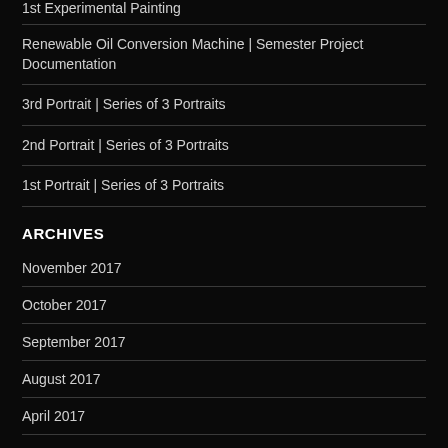1st Experimental Painting
Renewable Oil Conversion Machine | Semester Project Documentation
3rd Portrait | Series of 3 Portraits
2nd Portrait | Series of 3 Portraits
1st Portrait | Series of 3 Portraits
ARCHIVES
November 2017
October 2017
September 2017
August 2017
April 2017